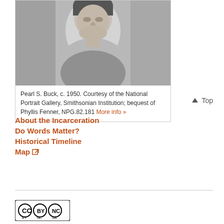[Figure (photo): Black and white portrait photograph of Pearl S. Buck, c. 1950, looking downward]
Pearl S. Buck, c. 1950. Courtesy of the National Portrait Gallery, Smithsonian Institution; bequest of Phyllis Fenner, NPG.82.181 More info »
About the Incarceration
Do Words Matter?
Historical Timeline
Map ↗
[Figure (logo): Creative Commons BY NC SA license logo]